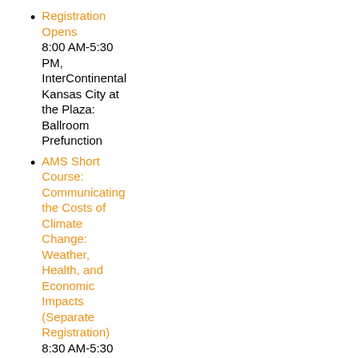Registration Opens
8:00 AM-5:30 PM, InterContinental Kansas City at the Plaza: Ballroom Prefunction
AMS Short Course: Communicating the Costs of Climate Change: Weather, Health, and Economic Impacts (Separate Registration)
8:30 AM-5:30 PM, InterContinental Kansas City at the Plaza: Pavilion III
AMS Short Course: Introducing